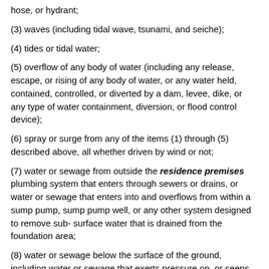hose, or hydrant;
(3) waves (including tidal wave, tsunami, and seiche);
(4) tides or tidal water;
(5) overflow of any body of water (including any release, escape, or rising of any body of water, or any water held, contained, controlled, or diverted by a dam, levee, dike, or any type of water containment, diversion, or flood control device);
(6) spray or surge from any of the items (1) through (5) described above, all whether driven by wind or not;
(7) water or sewage from outside the residence premises plumbing system that enters through sewers or drains, or water or sewage that enters into and overflows from within a sump pump, sump pump well, or any other system designed to remove sub- surface water that is drained from the foundation area;
(8) water or sewage below the surface of the ground, including water or sewage that exerts pressure on, or seeps or leaks through a building structure, sidewalk, driveway, swimming pool, or other structure;